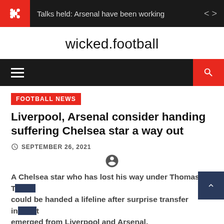Talks held: Arsenal have been working
wicked.football
FOOTBALL NEWS
Liverpool, Arsenal consider handing suffering Chelsea star a way out
SEPTEMBER 26, 2021
A Chelsea star who has lost his way under Thomas Tuchel could be handed a lifeline after surprise transfer interest emerged from Liverpool and Arsenal.
The greatest component of Chelsea's squad in the Tuchel